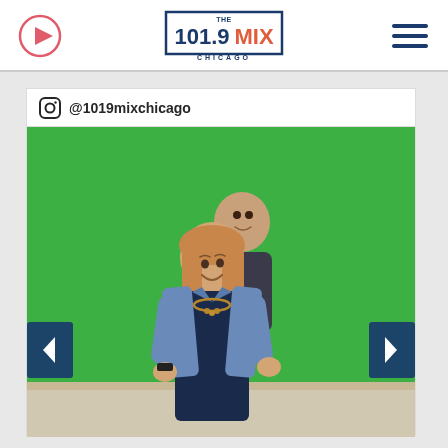101.9 THE MIX CHICAGO
[Figure (screenshot): Instagram post from @1019mixchicago showing two people posing in front of a green screen. A woman in a navy jumpsuit and denim jacket is in the foreground smiling, and a man in a dark shirt is partially visible behind her. Navigation arrows (< and >) on left and right sides of the image.]